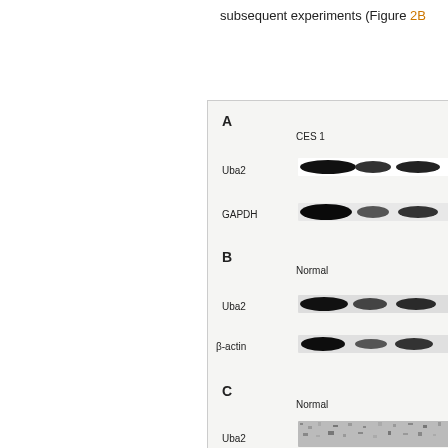subsequent experiments (Figure 2B
[Figure (photo): Western blot panels A, B, and C showing protein expression. Panel A: Uba2 and GAPDH bands in CES1 condition. Panel B: Uba2 and beta-actin bands in Normal condition. Panel C: Uba2 bands in Normal condition (partially visible).]